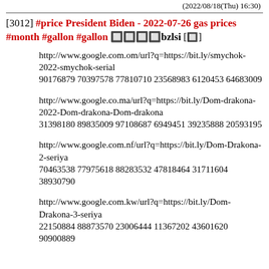(2022/08/18(Thu) 16:30)
[3012] #price President Biden - 2022-07-26 gas prices #month #gallon #gallon 🔲🔲🔲🔲bzlsi [🔲]
http://www.google.com.om/url?q=https://bit.ly/smychok-2022-smychok-serial
90176879 70397578 77810710 23568983 6120453 64683009
http://www.google.co.ma/url?q=https://bit.ly/Dom-drakona-2022-Dom-drakona-Dom-drakona
31398180 89835009 97108687 6949451 39235888 20593195
http://www.google.com.nf/url?q=https://bit.ly/Dom-Drakona-2-seriya
70463538 77975618 88283532 47818464 31711604 38930790
http://www.google.com.kw/url?q=https://bit.ly/Dom-Drakona-3-seriya
22150884 88873570 23006444 11367202 43601620 90900889